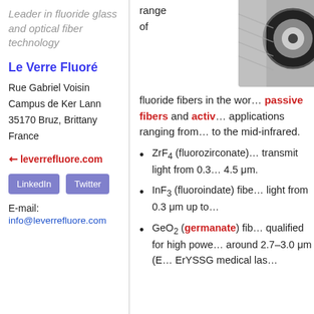Leader in fluoride glass and optical fiber technology
Le Verre Fluoré
Rue Gabriel Voisin
Campus de Ker Lann
35170 Bruz, Brittany
France
↗ leverrefluore.com
LinkedIn   Twitter
E-mail:
info@leverrefluore.com
[Figure (photo): Close-up photo of an optical fiber reel/spool, dark circular coil against light background]
range of
fluoride fibers in the wor…
passive fibers and acti… applications ranging from… to the mid-infrared.
ZrF4 (fluorozirconate) … transmit light from 0.3 … 4.5 μm.
InF3 (fluoroindate) fibe… light from 0.3 μm up to…
GeO2 (germanate) fib… qualified for high powe… around 2.7–3.0 μm (E… ErYSSG medical las…